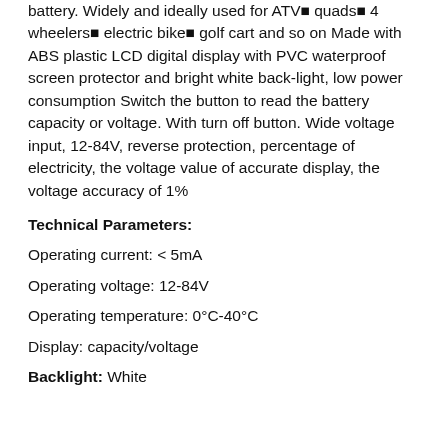battery. Widely and ideally used for ATV■ quads■ 4 wheelers■ electric bike■ golf cart and so on Made with ABS plastic LCD digital display with PVC waterproof screen protector and bright white back-light, low power consumption Switch the button to read the battery capacity or voltage. With turn off button. Wide voltage input, 12-84V, reverse protection, percentage of electricity, the voltage value of accurate display, the voltage accuracy of 1%
Technical Parameters:
Operating current: < 5mA
Operating voltage: 12-84V
Operating temperature: 0°C-40°C
Display: capacity/voltage
Backlight: White